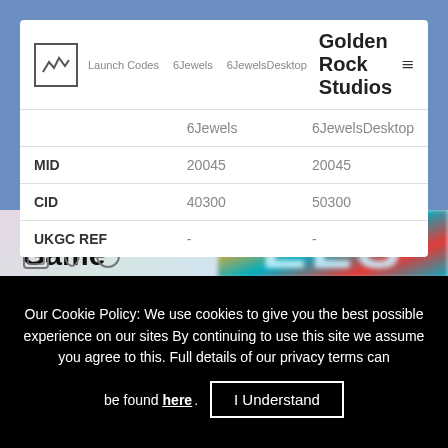Launch Codes  6Jewels  6JewelsDesktop  Golden Rock Studios
|  | 6Jewels | 6JewelsDesktop |
| --- | --- | --- |
| MID | 20045 | 20045 |
| CID | 40300 | 50300 |
| UKGC REF | - | - |
Game Details
[Figure (photo): Colorful blurred game artwork showing 'ELS' text in cyan against red and yellow background]
Platforms
Our Cookie Policy: We use cookies to give you the best possible experience on our sites By continuing to use this site we assume you agree to this. Full details of our privacy terms can be found here. I Understand